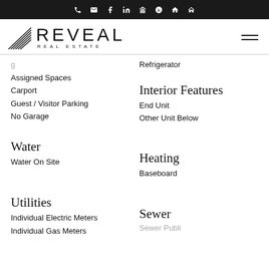REVEAL REAL ESTATE — navigation icons
[Figure (logo): Reveal Real Estate logo with stylized stacked lines icon and hamburger menu icon]
Assigned Spaces
Carport
Guest / Visitor Parking
No Garage
Refrigerator
Interior Features
End Unit
Other Unit Below
Water
Water On Site
Heating
Baseboard
Utilities
Individual Electric Meters
Individual Gas Meters
Sewer
Sewer Public (partial/cut off)